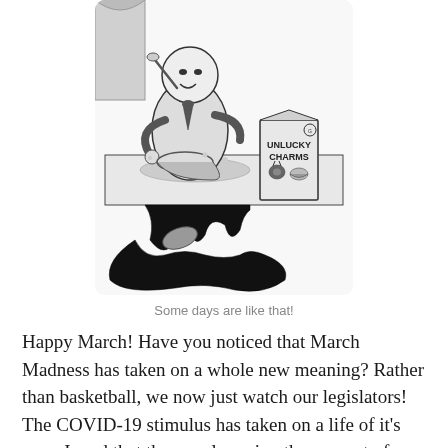[Figure (illustration): Black and white cartoon panel showing a person sitting at a table eating cereal messily, with a box of 'Unlucky Charms' cereal on the table. Spilled milk or liquid is spreading across the table and onto the floor in dark puddles.]
Some days are like that!
Happy March! Have you noticed that March Madness has taken on a whole new meaning? Rather than basketball, we now just watch our legislators! The COVID-19 stimulus has taken on a life of it's own. I read that they are lowering the amount of money you can make before getting a stimulus check. Before long